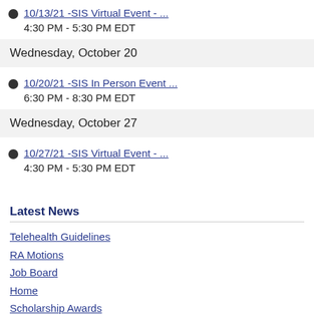10/13/21 -SIS Virtual Event - ...
4:30 PM - 5:30 PM EDT
Wednesday, October 20
10/20/21 -SIS In Person Event ...
6:30 PM - 8:30 PM EDT
Wednesday, October 27
10/27/21 -SIS Virtual Event - ...
4:30 PM - 5:30 PM EDT
Latest News
Telehealth Guidelines
RA Motions
Job Board
Home
Scholarship Awards